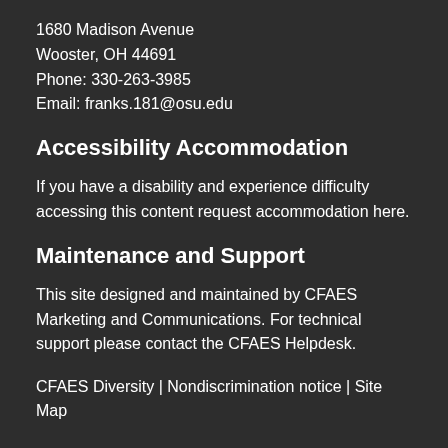1680 Madison Avenue
Wooster, OH 44691
Phone: 330-263-3985
Email: franks.181@osu.edu
Accessibility Accommodation
If you have a disability and experience difficulty accessing this content request accommodation here.
Maintenance and Support
This site designed and maintained by CFAES Marketing and Communications. For technical support please contact the CFAES Helpdesk.
CFAES Diversity | Nondiscrimination notice | Site Map